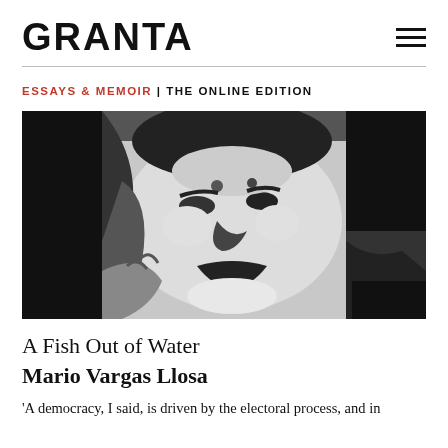GRANTA
ESSAYS & MEMOIR | THE ONLINE EDITION
[Figure (photo): High-contrast black and white photographic image showing a close-up of a person's face looking upward, rendered in stark monochrome with heavy shadow and highlight areas.]
A Fish Out of Water
Mario Vargas Llosa
‘A democracy, I said, is driven by the electoral process, and in